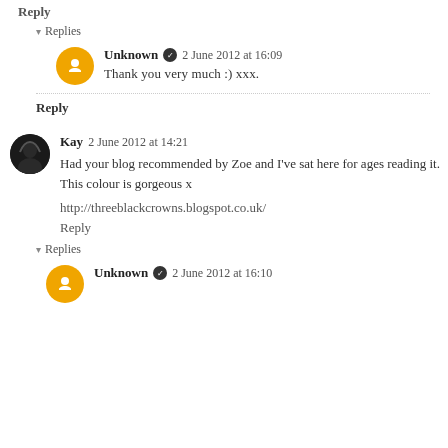Reply
▾ Replies
Unknown ✓ 2 June 2012 at 16:09
Thank you very much :) xxx.
Reply
Kay 2 June 2012 at 14:21
Had your blog recommended by Zoe and I've sat here for ages reading it.
This colour is gorgeous x
http://threeblackcrowns.blogspot.co.uk/
Reply
▾ Replies
Unknown ✓ 2 June 2012 at 16:10